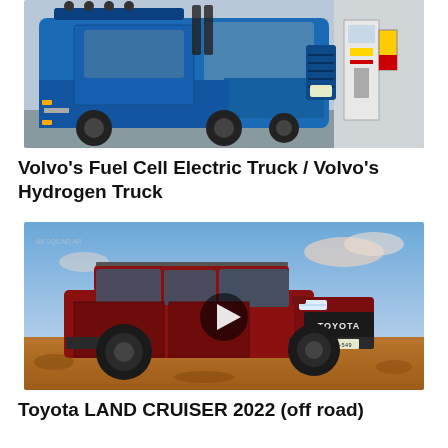[Figure (photo): Volvo blue fuel cell electric semi-truck cab parked next to a hydrogen fueling station with Shell branding on the pump]
Volvo's Fuel Cell Electric Truck / Volvo's Hydrogen Truck
[Figure (photo): Red Toyota Land Cruiser 2022 SUV driving off-road on red dirt terrain under a blue sky with clouds. License plate KDR-549. Video play button overlay in center.]
Toyota LAND CRUISER 2022 (off road)